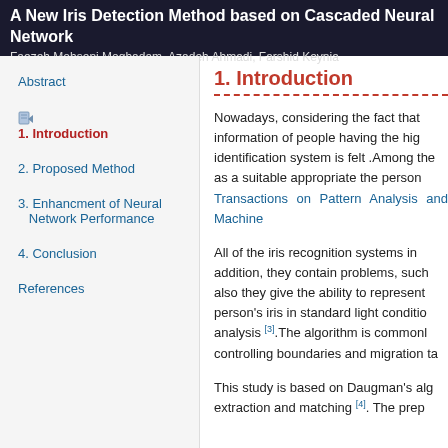A New Iris Detection Method based on Cascaded Neural Network
Faezeh Mohseni Moghadam, Azadeh Ahmadi, Farshid Keynia
Abstract
1. Introduction
2. Proposed Method
3. Enhancment of Neural Network Performance
4. Conclusion
References
1. Introduction
Nowadays, considering the fact that information of people having the highest identification system is felt .Among the as a suitable appropriate the person Transactions on Pattern Analysis and Machine
All of the iris recognition systems in addition, they contain problems, such also they give the ability to represent person's iris in standard light conditions analysis [3].The algorithm is commonly controlling boundaries and migration ta
This study is based on Daugman's algorithm extraction and matching [4]. The prep